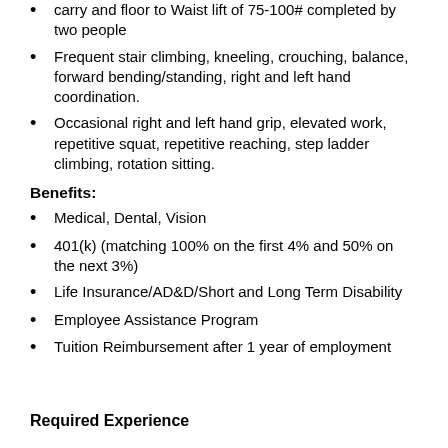carry and floor to Waist lift of 75-100# completed by two people
Frequent stair climbing, kneeling, crouching, balance, forward bending/standing, right and left hand coordination.
Occasional right and left hand grip, elevated work, repetitive squat, repetitive reaching, step ladder climbing, rotation sitting.
Benefits:
Medical, Dental, Vision
401(k) (matching 100% on the first 4% and 50% on the next 3%)
Life Insurance/AD&D/Short and Long Term Disability
Employee Assistance Program
Tuition Reimbursement after 1 year of employment
Required Experience